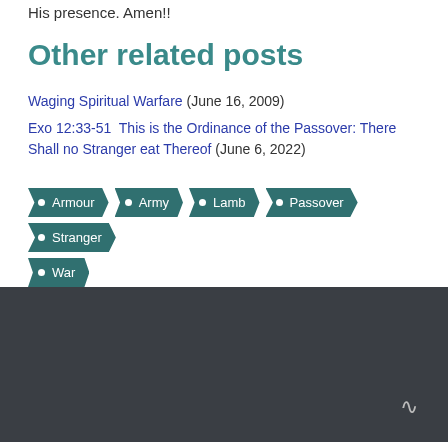His presence. Amen!!
Other related posts
Waging Spiritual Warfare (June 16, 2009)
Exo 12:33-51  This is the Ordinance of the Passover: There Shall no Stranger eat Thereof (June 6, 2022)
Armour  Army  Lamb  Passover  Stranger  War